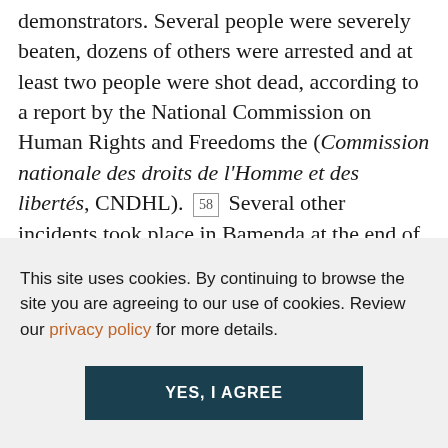demonstrators. Several people were severely beaten, dozens of others were arrested and at least two people were shot dead, according to a report by the National Commission on Human Rights and Freedoms the (Commission nationale des droits de l'Homme et des libertés, CNDHL). 58 Several other incidents took place in Bamenda at the end of November, leading to riots
On 28 November, the crisis, which had until
This site uses cookies. By continuing to browse the site you are agreeing to our use of cookies. Review our privacy policy for more details.
YES, I AGREE